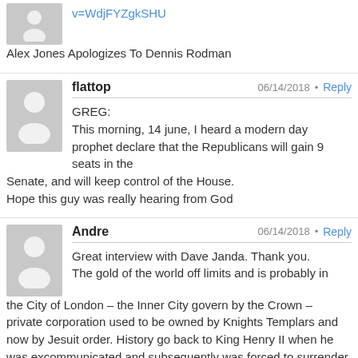v=WdjFYZgkSHU
Alex Jones Apologizes To Dennis Rodman
flattop  06/14/2018  Reply
GREG:
This morning, 14 june, I heard a modern day prophet declare that the Republicans will gain 9 seats in the Senate, and will keep control of the House.
Hope this guy was really hearing from God
Andre  06/14/2018  Reply
Great interview with Dave Janda. Thank you.
The gold of the world off limits and is probably in the City of London – the Inner City govern by the Crown – private corporation used to be owned by Knights Templars and now by Jesuit order. History go back to King Henry II when he was excommunicated and subsequently was forced to surrender all he had in a contract that England broke. They also own all